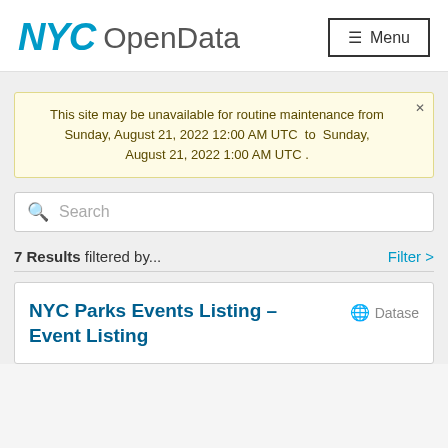NYC OpenData
This site may be unavailable for routine maintenance from Sunday, August 21, 2022 12:00 AM UTC to Sunday, August 21, 2022 1:00 AM UTC .
Search
7 Results filtered by...
Filter >
NYC Parks Events Listing – Event Listing
Dataset